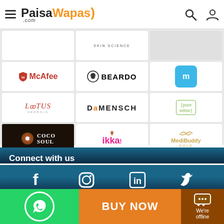PaisaWapas.com
[Figure (logo): McAfee logo - red shield with text McAfee]
[Figure (logo): Beardo logo - beard icon with bold text BEARDO]
[Figure (logo): Blue app icon with white text]
[Figure (logo): Lotus Herbals logo]
[Figure (logo): DaMENSCH logo]
[Figure (logo): Pure Sense logo in green border]
[Figure (logo): Coco Soul logo on dark background]
[Figure (logo): ikka! logo in pink]
[Figure (logo): MediBuddy Gold logo in gold color]
Connect with us
[Figure (infographic): Social media icons: Facebook, Instagram, LinkedIn, Twitter]
GET IT ON Google Play
BUY NOW
We're offline